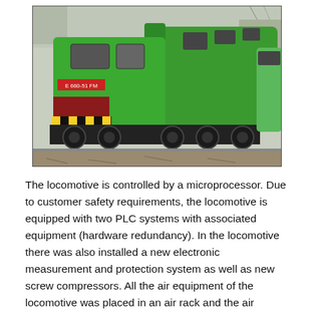[Figure (photo): Photograph of a green locomotive (E 660-51 FM) on railway tracks, viewed from the front-left angle, showing its undercarriage, bogies, and yellow-black striped bumper.]
The locomotive is controlled by a microprocessor. Due to customer safety requirements, the locomotive is equipped with two PLC systems with associated equipment (hardware redundancy). In the locomotive there was also installed a new electronic measurement and protection system as well as new screw compressors. All the air equipment of the locomotive was placed in an air rack and the air installation was made of stainless steel. The locomotive is equipped with new contactors for configuring the traction circuit and disconnecting the resistors. Instead of cast traction and braking resistors there were installed